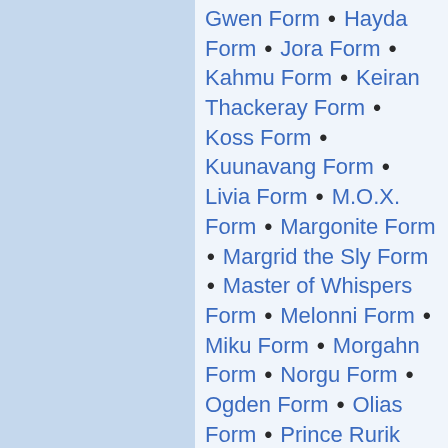Gwen Form • Hayda Form • Jora Form • Kahmu Form • Keiran Thackeray Form • Koss Form • Kuunavang Form • Livia Form • M.O.X. Form • Margonite Form • Margrid the Sly Form • Master of Whispers Form • Melonni Form • Miku Form • Morgahn Form • Norgu Form • Ogden Form • Olias Form • Prince Rurik Form • Pyre Fierceshot Form • Queen Salma Form • Razah Form • Shiro Tagachi Form • Slightly Mad King Thorn Form • Tahlkora Form • Vekk Form • Xandra Form • Zenmai Form • Zhed Shadowhoof Form
Bounty Hunter • Courier's Haste • Hive Mind • Inverse Ninja Law • Keep